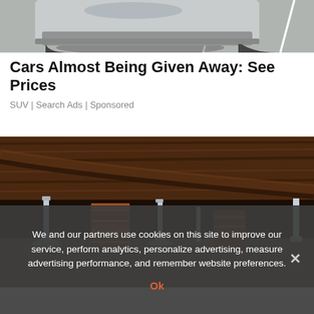[Figure (photo): Bottom portion of a silver car in a parking lot, shot from above showing pavement with white parking lines.]
Cars Almost Being Given Away: See Prices
SUV | Search Ads | Sponsored
[Figure (photo): Under-house crawlspace showing wooden floor joists, brick piers, metal adjustable support posts (jack posts), and gravel ground cover.]
We and our partners use cookies on this site to improve our service, perform analytics, personalize advertising, measure advertising performance, and remember website preferences.
Ok